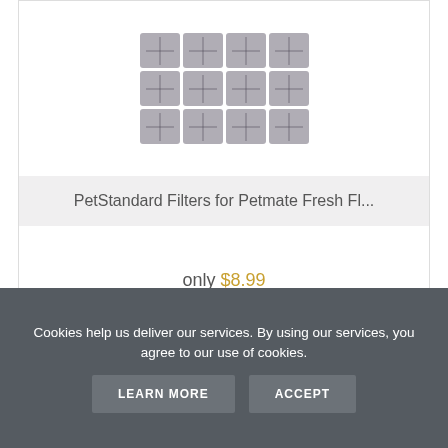[Figure (photo): Grid of 12 gray square filter pads arranged in 3 rows of 4]
PetStandard Filters for Petmate Fresh Fl...
only $8.99
[Figure (other): 5 gold stars rating]
VIEW
ADD TO CART
BROWSE CATEGORIES
Cookies help us deliver our services. By using our services, you agree to our use of cookies.
LEARN MORE
ACCEPT